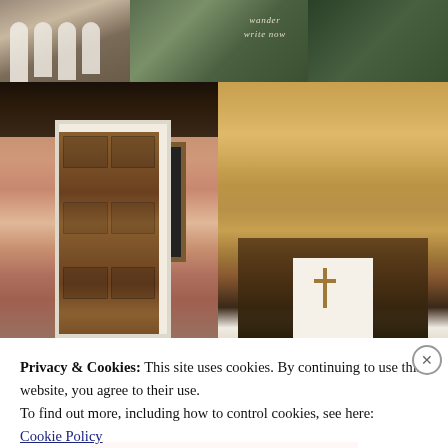[Figure (photo): Top strip: three travel photos side by side - Moorish architectural arches on left, a lush green interior courtyard center with 'wander write now' text overlay, and green trees on right]
[Figure (photo): Left photo: interior of a Moorish-style room with wooden ceiling beams, ornate latticed window, and a white-framed wooden door below]
[Figure (photo): Right photo: interior of Seville Cathedral showing elaborate Gothic fan vaulting on the ceiling, tall nave with ornate choir stalls and a crucifix at the altar]
Privacy & Cookies: This site uses cookies. By continuing to use this website, you agree to their use.
To find out more, including how to control cookies, see here:
Cookie Policy
Close and accept